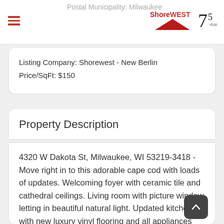Postal Municipality: Milwaukee
Listing Company: Shorewest - New Berlin
Price/SqFt: $150
Property Description
4320 W Dakota St, Milwaukee, WI 53219-3418 - Move right in to this adorable cape cod with loads of updates. Welcoming foyer with ceramic tile and cathedral ceilings. Living room with picture window letting in beautiful natural light. Updated kitchen with new luxury vinyl flooring and all appliances included. Main floor full bath updated with new vanity, toilet, and fixtures. Upstairs you will find the master bedroom with double closets and a guest